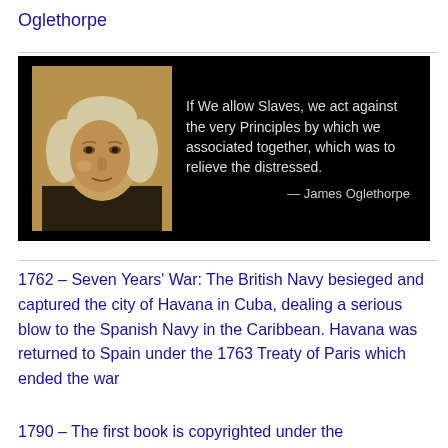Oglethorpe
[Figure (photo): Black background image with a portrait of James Oglethorpe on the left side and a quote on the right: 'If We allow Slaves, we act against the very Principles by which we associated together, which was to relieve the distressed. — James Oglethorpe']
1762 – Seven Years' War: The British Navy besieged and captured the city of Havana in Cuba, dealing a serious blow to the Spanish Navy in the Caribbean. Havana was returned to Spain under the 1763 Treaty of Paris which ended the war
1790 – The first book is copyrighted under the